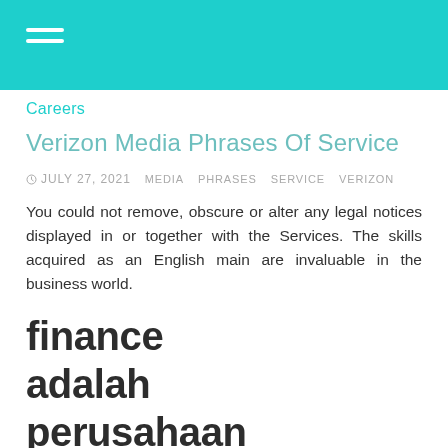Careers
Verizon Media Phrases Of Service
JULY 27, 2021   MEDIA   PHRASES   SERVICE   VERIZON
You could not remove, obscure or alter any legal notices displayed in or together with the Services. The skills acquired as an English main are invaluable in the business world.
finance adalah perusahaan
Management (or managing) is the administration of an organization , whether or